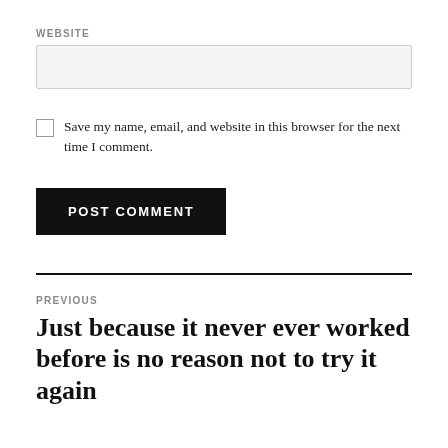WEBSITE
Save my name, email, and website in this browser for the next time I comment.
POST COMMENT
PREVIOUS
Just because it never ever worked before is no reason not to try it again